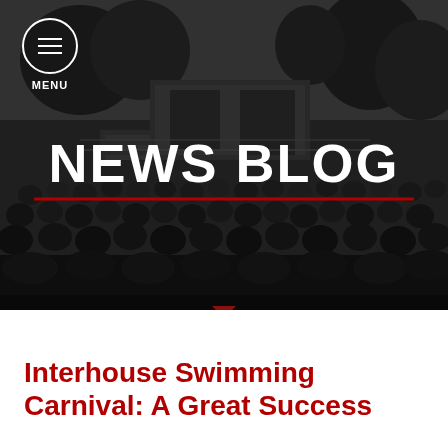[Figure (photo): Black and white photo of a large crowd gathered outdoors at what appears to be a school event or assembly, with trees and a stage/platform structure in the background.]
MENU
NEWS BLOG
Interhouse Swimming Carnival: A Great Success